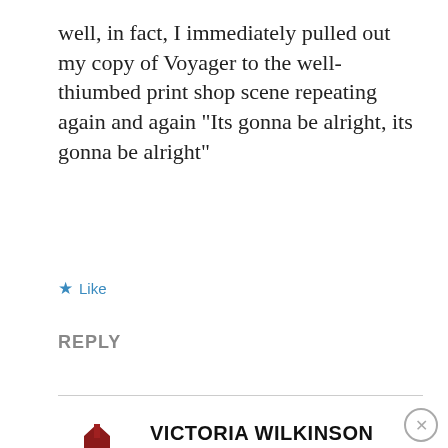well, in fact, I immediately pulled out my copy of Voyager to the well-thiumbed print shop scene repeating again and again “Its gonna be alright, its gonna be alright”
★ Like
REPLY
VICTORIA WILKINSON
July 10, 2016 at 2:57 pm
Advertisements
[Figure (screenshot): DuckDuckGo advertisement banner with text 'Search, browse, and email with more privacy. All in One Free App' and phone image.]